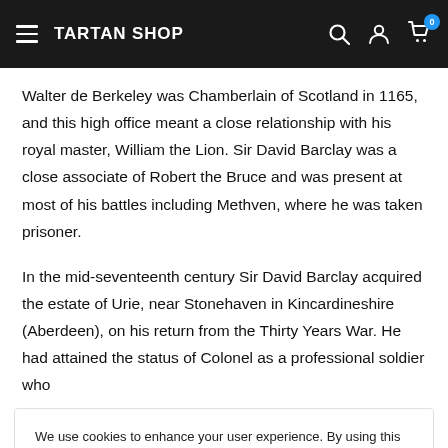TARTAN SHOP
Walter de Berkeley was Chamberlain of Scotland in 1165, and this high office meant a close relationship with his royal master, William the Lion. Sir David Barclay was a close associate of Robert the Bruce and was present at most of his battles including Methven, where he was taken prisoner.
In the mid-seventeenth century Sir David Barclay acquired the estate of Urie, near Stonehaven in Kincardineshire (Aberdeen), on his return from the Thirty Years War. He had attained the status of Colonel as a professional soldier who
We use cookies to enhance your user experience. By using this website you automatically accept.
Accept
representative to London under the rule of Cromwell